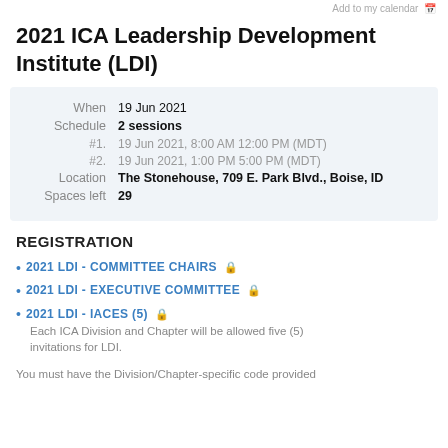Add to my calendar
2021 ICA Leadership Development Institute (LDI)
| When | 19 Jun 2021 |
| Schedule | 2 sessions |
| #1. | 19 Jun 2021, 8:00 AM 12:00 PM (MDT) |
| #2. | 19 Jun 2021, 1:00 PM 5:00 PM (MDT) |
| Location | The Stonehouse, 709 E. Park Blvd., Boise, ID |
| Spaces left | 29 |
REGISTRATION
2021 LDI - COMMITTEE CHAIRS 🔒
2021 LDI - EXECUTIVE COMMITTEE 🔒
2021 LDI - IACES (5) 🔒
Each ICA Division and Chapter will be allowed five (5) invitations for LDI.
You must have the Division/Chapter-specific code provided